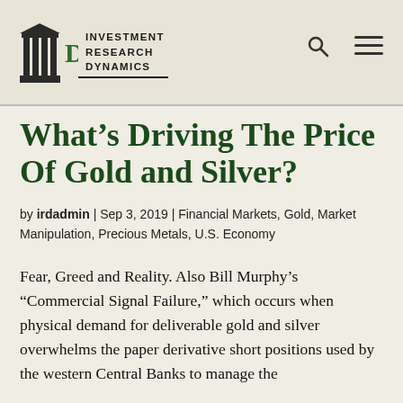Investment Research Dynamics
What’s Driving The Price Of Gold and Silver?
by irdadmin | Sep 3, 2019 | Financial Markets, Gold, Market Manipulation, Precious Metals, U.S. Economy
Fear, Greed and Reality. Also Bill Murphy’s “Commercial Signal Failure,” which occurs when physical demand for deliverable gold and silver overwhelms the paper derivative short positions used by the western Central Banks to manage the